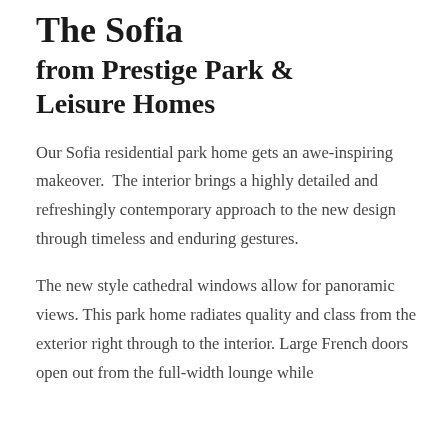The Sofia from Prestige Park & Leisure Homes
Our Sofia residential park home gets an awe-inspiring makeover.  The interior brings a highly detailed and refreshingly contemporary approach to the new design through timeless and enduring gestures.
The new style cathedral windows allow for panoramic views. This park home radiates quality and class from the exterior right through to the interior. Large French doors open out from the full-width lounge while